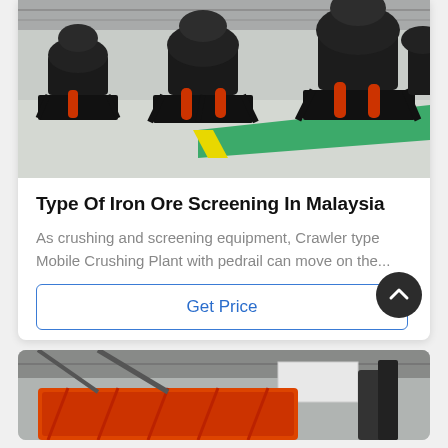[Figure (photo): Industrial factory floor showing multiple large black cone crushers (mining/crushing equipment) mounted on heavy steel frames, with orange hydraulic cylinders visible. Green-painted floor area in background.]
Type Of Iron Ore Screening In Malaysia
As crushing and screening equipment, Crawler type Mobile Crushing Plant with pedrail can move on the...
Get Price
[Figure (photo): Partial view of an orange industrial screening/vibrating machine inside a factory building with grey walls and ceiling structure.]